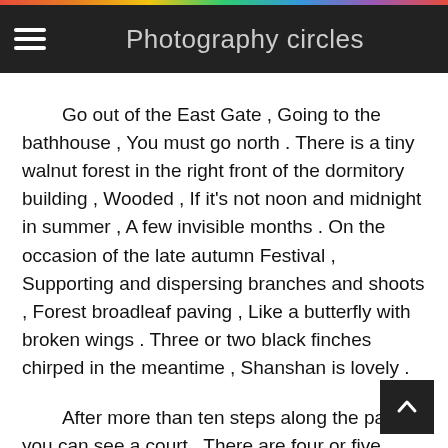Photography circles
Go out of the East Gate , Going to the bathhouse , You must go north . There is a tiny walnut forest in the right front of the dormitory building , Wooded , If it's not noon and midnight in summer , A few invisible months . On the occasion of the late autumn Festival , Supporting and dispersing branches and shoots , Forest broadleaf paving , Like a butterfly with broken wings . Three or two black finches chirped in the meantime , Shanshan is lovely .
After more than ten steps along the path, you can see a court , There are four or five begonias in the West , The branches are decorated with real pearl red fruits , stars , Bright and pleasant , There is a circle of evergreen dwarf